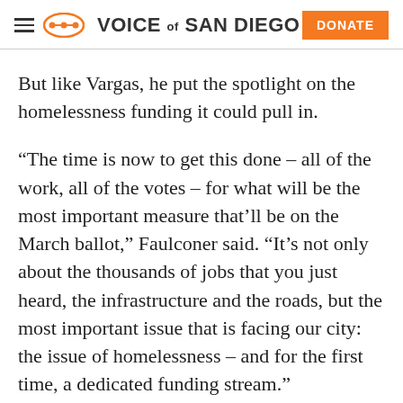VOICE of SAN DIEGO | DONATE
But like Vargas, he put the spotlight on the homelessness funding it could pull in.
“The time is now to get this done – all of the work, all of the votes – for what will be the most important measure that’ll be on the March ballot,” Faulconer said. “It’s not only about the thousands of jobs that you just heard, the infrastructure and the roads, but the most important issue that is facing our city: the issue of homelessness – and for the first time, a dedicated funding stream.”